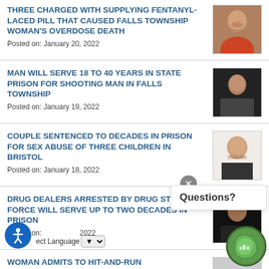THREE CHARGED WITH SUPPLYING FENTANYL-LACED PILL THAT CAUSED FALLS TOWNSHIP WOMAN'S OVERDOSE DEATH
Posted on: January 20, 2022
MAN WILL SERVE 18 TO 40 YEARS IN STATE PRISON FOR SHOOTING MAN IN FALLS TOWNSHIP
Posted on: January 19, 2022
COUPLE SENTENCED TO DECADES IN PRISON FOR SEX ABUSE OF THREE CHILDREN IN BRISTOL
Posted on: January 18, 2022
DRUG DEALERS ARRESTED BY DRUG STRIKE FORCE WILL SERVE UP TO TWO DECADES IN PRISON
Posted on: [January] 2022
WOMAN ADMITS TO HIT-AND-RUN